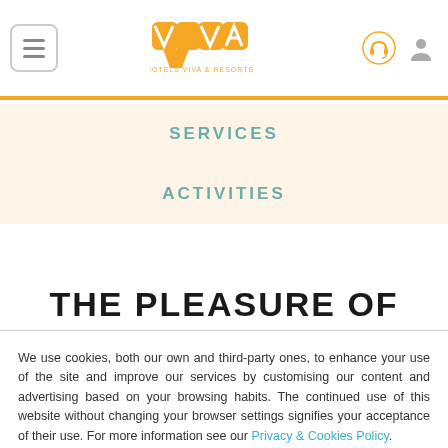[Figure (logo): Hotels Viva & Resorts logo in orange with hamburger menu icon on left and customer service/account icons on right]
SERVICES
ACTIVITIES
THE PLEASURE OF CHOICE
We use cookies, both our own and third-party ones, to enhance your use of the site and improve our services by customising our content and advertising based on your browsing habits. The continued use of this website without changing your browser settings signifies your acceptance of their use. For more information see our Privacy & Cookies Policy.
Accept | Decline